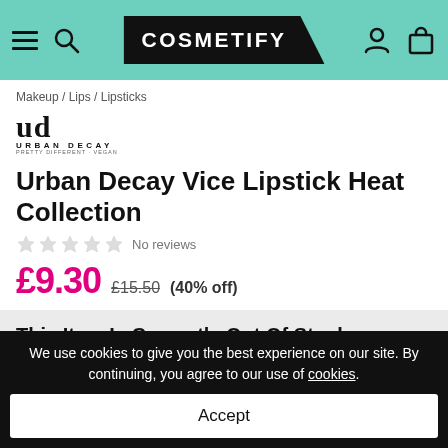COSMETIFY
Makeup / Lips / Lipsticks
[Figure (logo): Urban Decay brand logo with UD monogram]
Urban Decay Vice Lipstick Heat Collection
No reviews
£9.30  £15.50  (40% off)
This Item Is Currently Out Of Stock
Get notified when it's back in stock
Your email address
Notify Me
We use cookies to give you the best experience on our site. By continuing, you agree to our use of cookies.
Accept